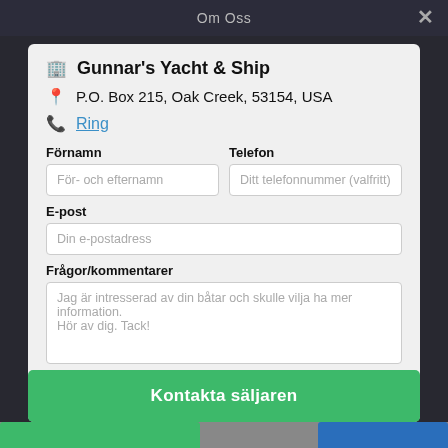Om Oss
Gunnar's Yacht & Ship
P.O. Box 215, Oak Creek, 53154, USA
Ring
Förnamn
För- och efternamn
Telefon
Ditt telefonnummer (valfritt)
E-post
Din e-postadress
Frågor/kommentarer
Jag är intresserad av din båtar och skulle vilja ha mer information. Hör av dig. Tack!
Kontakta säljaren